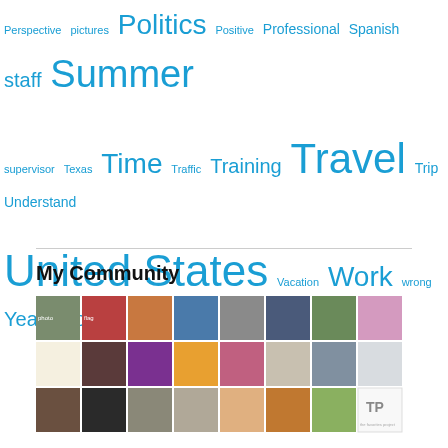[Figure (infographic): Tag cloud with words in varying sizes and blue color including: Perspective, pictures, Politics, Positive, Professional, Spanish, staff, Summer, supervisor, Texas, Time, Traffic, Training, Travel, Trip, Understand, United States, Vacation, Work, wrong, Years, Young]
My Community
[Figure (photo): Grid of profile photos and avatars arranged in rows, showing various people portraits, flags, decorative patterns, and icons in a community photo grid layout]